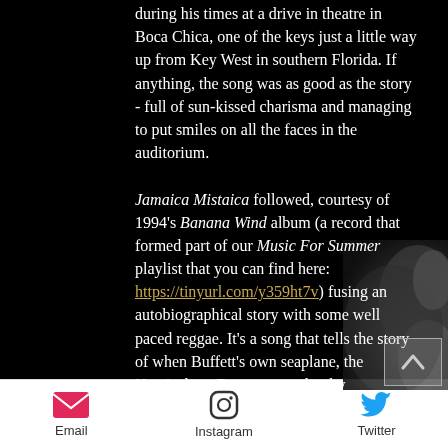during his times at a drive in theatre in Boca Chica, one of the keys just a little way up from Key West in southern Florida. If anything, the song was as good as the story - full of sun-kissed charisma and managing to put smiles on all the faces in the auditorium.
Jamaica Mistaica followed, courtesy of 1994's Banana Wind album (a record that formed part of our Music For Summer playlist that you can find here: https://tinyurl.com/y359ht7v) fusing an autobiographical story with some well paced reggae. It's a song that tells the story of when Buffett's own seaplane, the Hemisphere Dancer, was shot by
Email  Instagram  Twitter